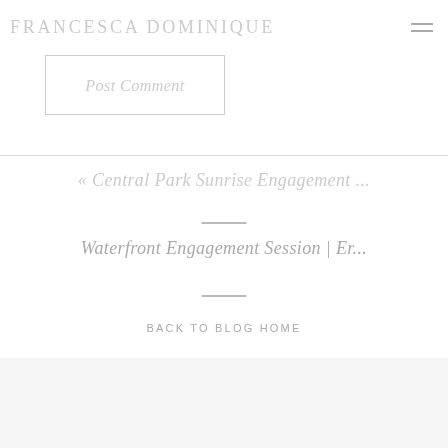FRANCESCA DOMINIQUE
Post Comment
« Central Park Sunrise Engagement ...
Waterfront Engagement Session | Er...
BACK TO BLOG HOME